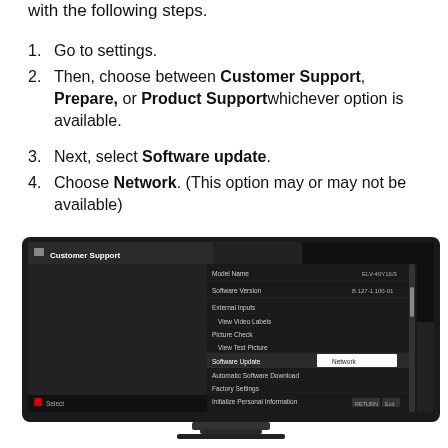with the following steps.
1. Go to settings.
2. Then, choose between Customer Support, Prepare, or Product Supportwhichever option is available.
3. Next, select Software update.
4. Choose Network. (This option may or may not be available)
[Figure (screenshot): TV screen showing Customer Support menu with options including Model Name, Software Version, External Inputs, View Video Labels, Picture Check, View Test Picture, Software Update (highlighted with Network submenu selected), Automatic Software Download, Factory Settings, Initialize Personal Information. At bottom left shows Select button and bottom right shows navigation buttons.]